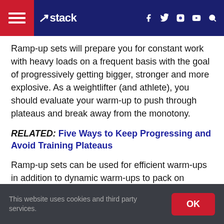stack — navigation header with hamburger menu, logo, social icons (Facebook, Twitter, Instagram, YouTube), and search
Ramp-up sets will prepare you for constant work with heavy loads on a frequent basis with the goal of progressively getting bigger, stronger and more explosive. As a weightlifter (and athlete), you should evaluate your warm-up to push through plateaus and break away from the monotony.
RELATED: Five Ways to Keep Progressing and Avoid Training Plateaus
Ramp-up sets can be used for efficient warm-ups in addition to dynamic warm-ups to pack on muscle and increase force development. In the video player above, a lifter is warming up with 225 pounds on a Hang Clean and
This website uses cookies and third party services. OK